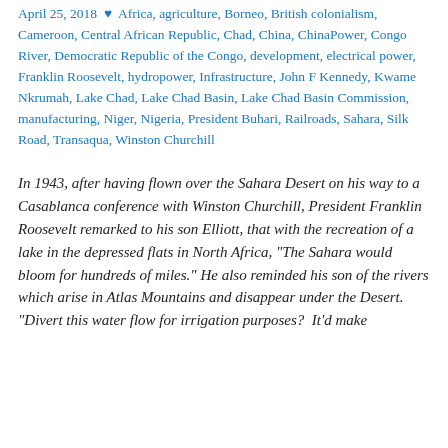April 25, 2018 · Africa, agriculture, Borneo, British colonialism, Cameroon, Central African Republic, Chad, China, ChinaPower, Congo River, Democratic Republic of the Congo, development, electrical power, Franklin Roosevelt, hydropower, Infrastructure, John F Kennedy, Kwame Nkrumah, Lake Chad, Lake Chad Basin, Lake Chad Basin Commission, manufacturing, Niger, Nigeria, President Buhari, Railroads, Sahara, Silk Road, Transaqua, Winston Churchill
In 1943, after having flown over the Sahara Desert on his way to a Casablanca conference with Winston Churchill, President Franklin Roosevelt remarked to his son Elliott, that with the recreation of a lake in the depressed flats in North Africa, "The Sahara would bloom for hundreds of miles." He also reminded his son of the rivers which arise in Atlas Mountains and disappear under the Desert. "Divert this water flow for irrigation purposes? It'd make